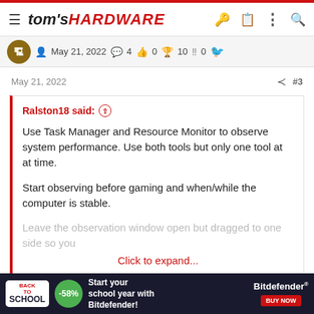tom's HARDWARE
May 21, 2022  4  0  10  0
May 21, 2022  #3
Ralston18 said: ↑

Use Task Manager and Resource Monitor to observe system performance. Use both tools but only one tool at at time.

Start observing before gaming and when/while the computer is stable.

Leave the observation window open but dragged to one side so you

Click to expand...
In my uneducated observation of the task manager, all numbers are
[Figure (other): Back To School advertisement banner for Bitdefender with -58% discount, green circle badge, dark background, red BUY NOW button]